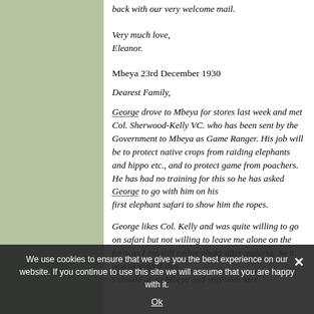back with our very welcome mail.
Very much love,
Eleanor.
Mbeya 23rd December 1930
Dearest Family,
George drove to Mbeya for stores last week and met Col. Sherwood-Kelly VC. who has been sent by the Government to Mbeya as Game Ranger. His job will be to protect native crops from raiding elephants and hippo etc., and to protect game from poachers. He has had no training for this so he has asked George to go with him on his
first elephant safari to show him the ropes.
George likes Col. Kelly and was quite willing to go on safari but not willing to leave me alone on the farm as I am still rather shaky after malaria. So it was arranged that
I should go to Mbeya and stay with Mrs
We use cookies to ensure that we give you the best experience on our website. If you continue to use this site we will assume that you are happy with it.
Ok